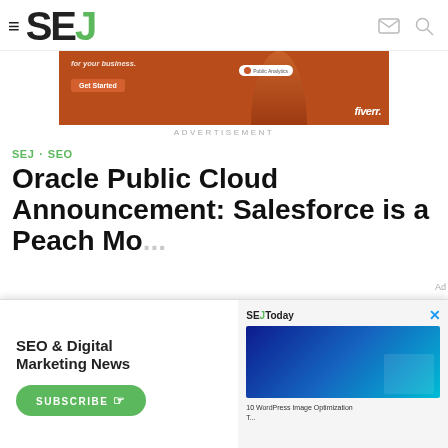SEJ
[Figure (infographic): Fiverr advertisement banner with orange background, woman in beige turtleneck, Get Started button, Fiverr logo]
ADVERTISEMENT
SEJ · SEO
Oracle Public Cloud Announcement: Salesforce is a Peach Mo...
[Figure (infographic): SEJ newsletter popup: SEO & Digital Marketing News subscribe dialog with SEJ Today sidebar showing WordPress image optimization article]